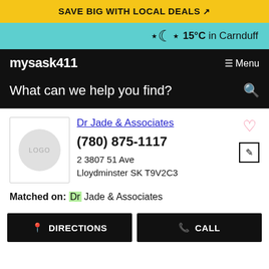SAVE BIG WITH LOCAL DEALS
15°C in Carnduff
mysask411
Menu
What can we help you find?
Dr Jade & Associates
(780) 875-1117
2 3807 51 Ave
Lloydminster SK T9V2C3
Matched on: Dr Jade & Associates
DIRECTIONS
CALL